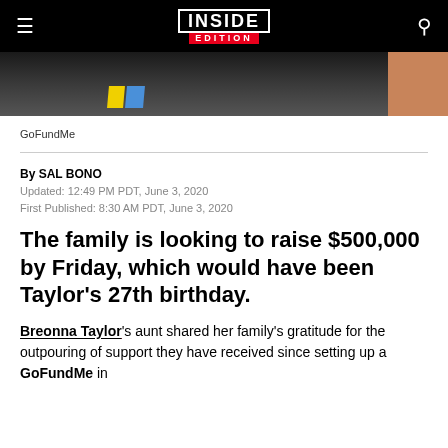INSIDE EDITION
[Figure (photo): Cropped dark photo showing partial view of a person with a yellow and blue badge/tag visible, and skin-toned area on the right]
GoFundMe
By SAL BONO
Updated: 12:49 PM PDT, June 3, 2020
First Published: 8:30 AM PDT, June 3, 2020
The family is looking to raise $500,000 by Friday, which would have been Taylor's 27th birthday.
Breonna Taylor's aunt shared her family's gratitude for the outpouring of support they have received since setting up a GoFundMe in